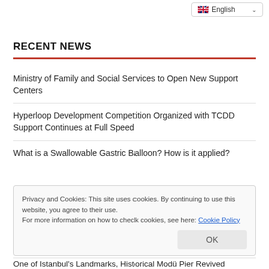English
RECENT NEWS
Ministry of Family and Social Services to Open New Support Centers
Hyperloop Development Competition Organized with TCDD Support Continues at Full Speed
What is a Swallowable Gastric Balloon? How is it applied?
Privacy and Cookies: This site uses cookies. By continuing to use this website, you agree to their use.
For more information on how to check cookies, see here: Cookie Policy
One of Istanbul's Landmarks, Historical Modü Pier Revived